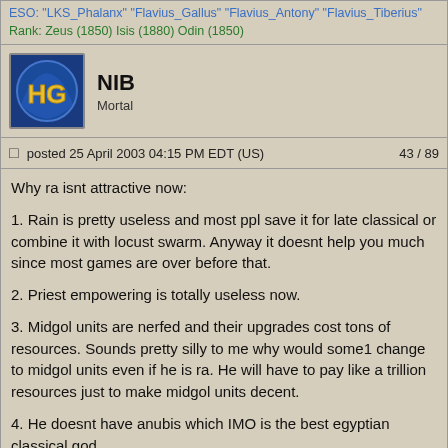ESO: "LKS_Phalanx" "Flavius_Gallus" "Flavius_Antony" "Flavius_Tiberius"
Rank: Zeus (1850) Isis (1880) Odin (1850)
NIB
Mortal
posted 25 April 2003 04:15 PM EDT (US)    43 / 89
Why ra isnt attractive now:

1. Rain is pretty useless and most ppl save it for late classical or combine it with locust swarm. Anyway it doesnt help you much since most games are over before that.

2. Priest empowering is totally useless now.

3. Midgol units are nerfed and their upgrades cost tons of resources. Sounds pretty silly to me why would some1 change to midgol units even if he is ra. He will have to pay like a trillion resources just to make midgol units decent.

4. He doesnt have anubis which IMO is the best egyptian classical god.

As you can see Ra's main characteristics ARE USELESS. So why would some1 use ra and not isis for example or set? I think ES should change priest empower to 15% and reduce midgol unit upgrade costs.

Why did ES nerf midgol units in the first place. Give their strength back so that camels can actually stand against jarls. Ra isnt as sucky as ppl think but i simply dont see why would some1 use ra and not